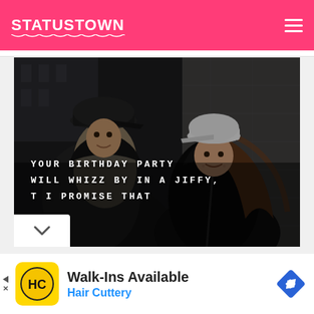STATUSTOWN
[Figure (photo): A couple facing each other closely outdoors against a stone wall. The man wears a dark cap and puffer jacket; the woman wears a white cap and black leather jacket. Overlaid text reads: YOUR BIRTHDAY PARTY / WILL WHIZZ BY IN A JIFFY, / T I PROMISE THAT]
[Figure (infographic): Advertisement: Walk-Ins Available - Hair Cuttery. Shows a yellow HC logo and a blue navigation diamond icon.]